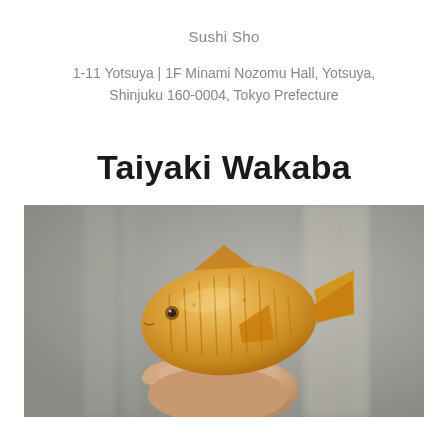Sushi Sho
1-11 Yotsuya | 1F Minami Nozomu Hall, Yotsuya, Shinjuku 160-0004, Tokyo Prefecture
Taiyaki Wakaba
[Figure (photo): Hand holding a golden-brown taiyaki (fish-shaped pastry) against a blurred grey background]